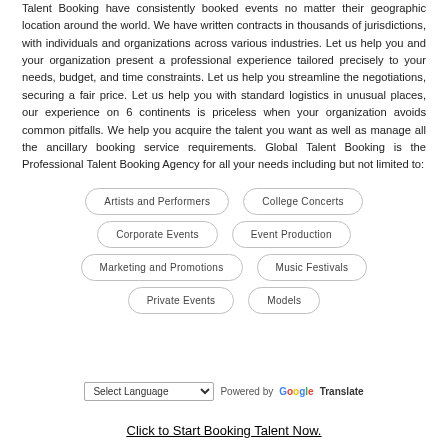Talent Booking have consistently booked events no matter their geographic location around the world. We have written contracts in thousands of jurisdictions, with individuals and organizations across various industries. Let us help you and your organization present a professional experience tailored precisely to your needs, budget, and time constraints. Let us help you streamline the negotiations, securing a fair price. Let us help you with standard logistics in unusual places, our experience on 6 continents is priceless when your organization avoids common pitfalls. We help you acquire the talent you want as well as manage all the ancillary booking service requirements. Global Talent Booking is the Professional Talent Booking Agency for all your needs including but not limited to:
Artists and Performers
College Concerts
Corporate Events
Event Production
Marketing and Promotions
Music Festivals
Private Events
Models
Select Language — Powered by Google Translate
Click to Start Booking Talent Now.